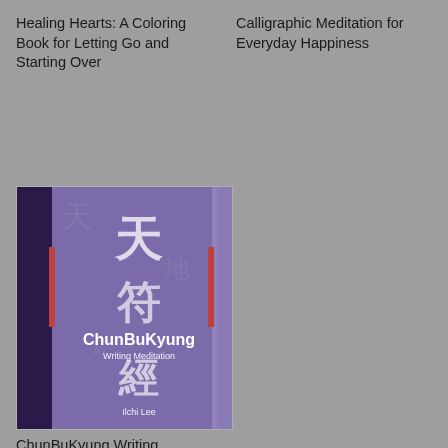Healing Hearts: A Coloring Book for Letting Go and Starting Over
Calligraphic Meditation for Everyday Happiness
[Figure (photo): Book cover of ChunBuKyung Writing Meditation by Ilchi Lee. Purple/blue cover with Chinese/Korean calligraphic characters and text 'ChunBuKyung Writing Meditation' and 'Ilchi Lee'.]
ChunBuKyung Writing Meditation